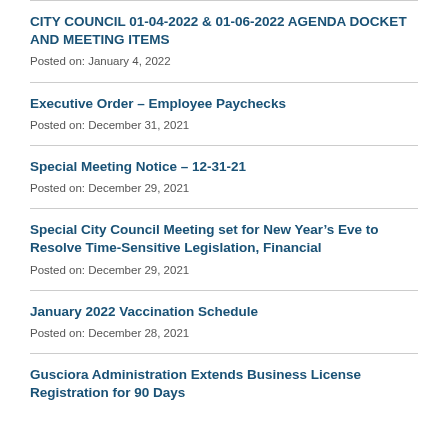CITY COUNCIL 01-04-2022 & 01-06-2022 AGENDA DOCKET AND MEETING ITEMS
Posted on: January 4, 2022
Executive Order – Employee Paychecks
Posted on: December 31, 2021
Special Meeting Notice – 12-31-21
Posted on: December 29, 2021
Special City Council Meeting set for New Year's Eve to Resolve Time-Sensitive Legislation, Financial
Posted on: December 29, 2021
January 2022 Vaccination Schedule
Posted on: December 28, 2021
Gusciora Administration Extends Business License Registration for 90 Days